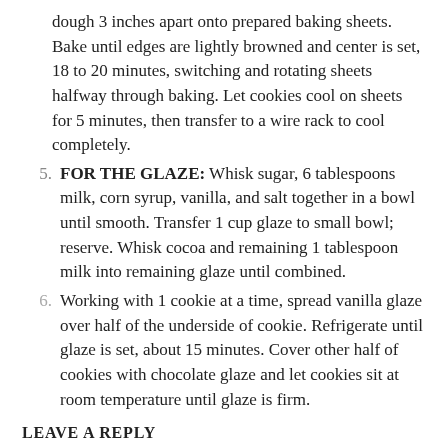dough 3 inches apart onto prepared baking sheets. Bake until edges are lightly browned and center is set, 18 to 20 minutes, switching and rotating sheets halfway through baking. Let cookies cool on sheets for 5 minutes, then transfer to a wire rack to cool completely.
5. FOR THE GLAZE: Whisk sugar, 6 tablespoons milk, corn syrup, vanilla, and salt together in a bowl until smooth. Transfer 1 cup glaze to small bowl; reserve. Whisk cocoa and remaining 1 tablespoon milk into remaining glaze until combined.
6. Working with 1 cookie at a time, spread vanilla glaze over half of the underside of cookie. Refrigerate until glaze is set, about 15 minutes. Cover other half of cookies with chocolate glaze and let cookies sit at room temperature until glaze is firm.
LEAVE A REPLY